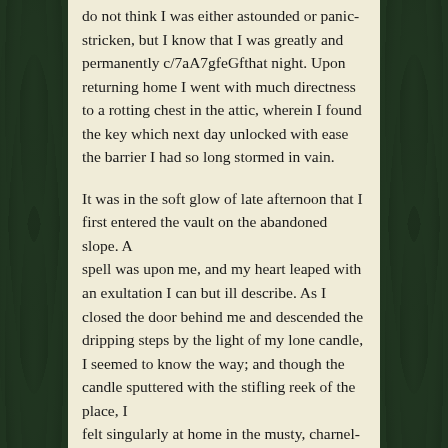do not think I was either astounded or panic-stricken, but I know that I was greatly and permanently c/7aA7gfeGfthat night. Upon returning home I went with much directness to a rotting chest in the attic, wherein I found the key which next day unlocked with ease the barrier I had so long stormed in vain.

It was in the soft glow of late afternoon that I first entered the vault on the abandoned slope. A spell was upon me, and my heart leaped with an exultation I can but ill describe. As I closed the door behind me and descended the dripping steps by the light of my lone candle, I seemed to know the way; and though the candle sputtered with the stifling reek of the place, I felt singularly at home in the musty, charnel-